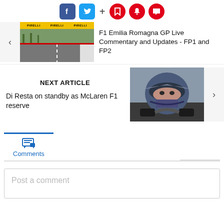[Figure (infographic): Social sharing icons: Facebook, Twitter, plus sign, bookmark/save (red circle), bell/notification (red circle), comment (red circle)]
[Figure (photo): F1 race track with Pirelli banners in background]
F1 Emilia Romagna GP Live Commentary and Updates - FP1 and FP2
NEXT ARTICLE
Di Resta on standby as McLaren F1 reserve
[Figure (photo): Racing driver in helmet and visor, close-up]
Comments
Post a comment